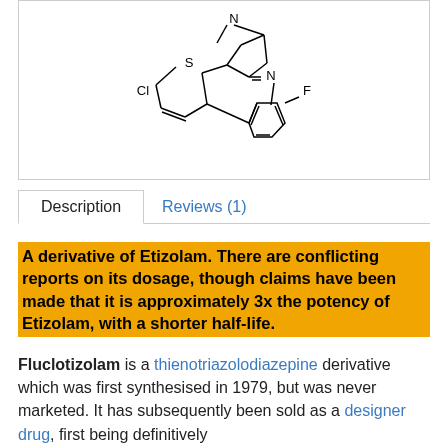[Figure (other): Chemical structure diagram of Fluclotizolam showing thienotriazolodiazepine ring system with Cl, S, N, F substituents]
Description | Reviews (1)
A derivative of Etizolam. There are conflicting reports on its dosage, though claims have been made that it is approximately 3x the potency of Etizolam, with a shorter half-life.
Fluclotizolam is a thienotriazolodiazepine derivative which was first synthesised in 1979, but was never marketed. It has subsequently been sold as a designer drug, first being definitively